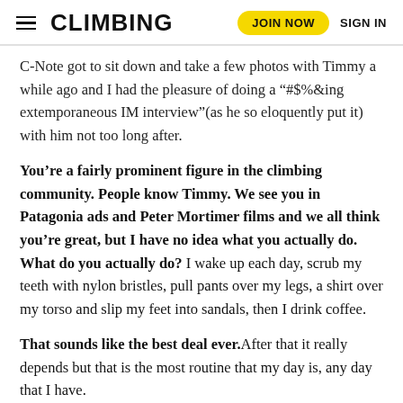CLIMBING | JOIN NOW | SIGN IN
C-Note got to sit down and take a few photos with Timmy a while ago and I had the pleasure of doing a “#$%&ing extemporaneous IM interview”(as he so eloquently put it) with him not too long after.
You’re a fairly prominent figure in the climbing community. People know Timmy. We see you in Patagonia ads and Peter Mortimer films and we all think you’re great, but I have no idea what you actually do. What do you actually do? I wake up each day, scrub my teeth with nylon bristles, pull pants over my legs, a shirt over my torso and slip my feet into sandals, then I drink coffee.
That sounds like the best deal ever.After that it really depends but that is the most routine that my day is, any day that I have.